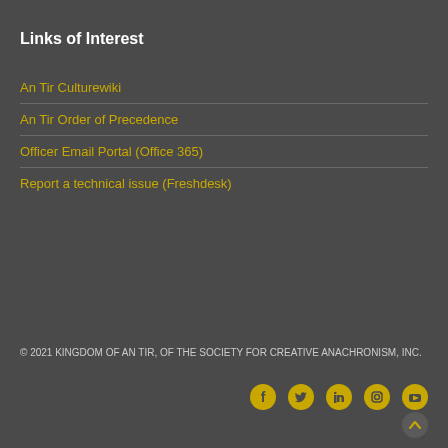Links of Interest
An Tir Culturewiki
An Tir Order of Precedence
Officer Email Portal (Office 365)
Report a technical issue (Freshdesk)
© 2021 KINGDOM OF AN TIR, OF THE SOCIETY FOR CREATIVE ANACHRONISM, INC.